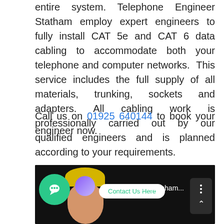entire system. Telephone Engineer Statham employ expert engineers to fully install CAT 5e and CAT 6 data cabling to accommodate both your telephone and computer networks.  This service includes the full supply of all materials, trunking, sockets and adapters. All cabling work is professionally carried out by our qualified engineers and is planned according to your requirements.
Call us on 01925 640144 to book your engineer now.
[Figure (screenshot): A screenshot showing a video thumbnail with a person wearing a hard hat and a green circular chat button, a 'Contact Us Here' button overlay, and partial text 'rs Frodsham...' with a settings/menu icon.]